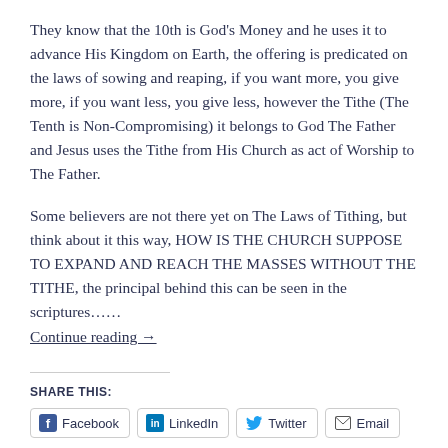They know that the 10th is God's Money and he uses it to advance His Kingdom on Earth, the offering is predicated on the laws of sowing and reaping, if you want more, you give more, if you want less, you give less, however the Tithe (The Tenth is Non-Compromising) it belongs to God The Father and Jesus uses the Tithe from His Church as act of Worship to The Father.
Some believers are not there yet on The Laws of Tithing, but think about it this way, HOW IS THE CHURCH SUPPOSE TO EXPAND AND REACH THE MASSES WITHOUT THE TITHE, the principal behind this can be seen in the scriptures……
Continue reading →
SHARE THIS:
Facebook  LinkedIn  Twitter  Email